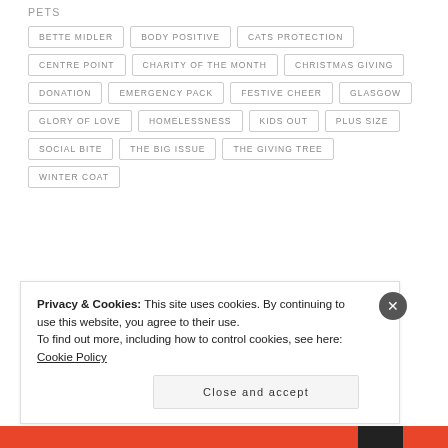PETS
BETTE MIDLER
BODY POSITIVE
CATS PROTECTION
CENTRE POINT
CHARITY OF THE MONTH
CHRISTMAS GIVING
DONATION
EMERGENCY PACK
FESTIVE CHEER
GLASGOW
GLORY OF LOVE
HOMELESSNESS
KIDS OUT
PLUS SIZE
SOCIAL BITE
THE BIG ISSUE
THE GIVING TREE
WINTER COAT
Privacy & Cookies: This site uses cookies. By continuing to use this website, you agree to their use. To find out more, including how to control cookies, see here: Cookie Policy
Close and accept